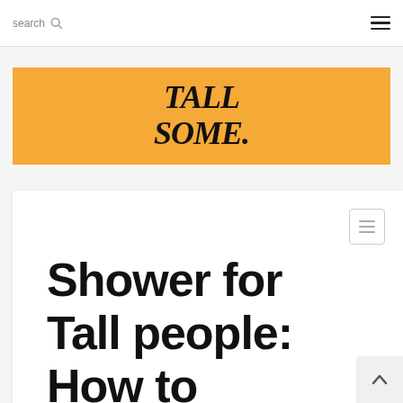search
[Figure (logo): TALLSOME. logo in italic bold serif text on an orange/golden background banner]
Shower for Tall people: How to Change your Showerhead